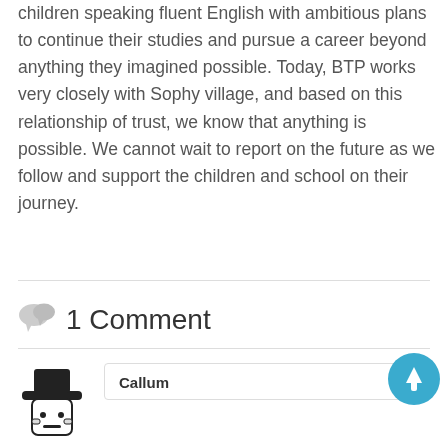children speaking fluent English with ambitious plans to continue their studies and pursue a career beyond anything they imagined possible. Today, BTP works very closely with Sophy village, and based on this relationship of trust, we know that anything is possible. We cannot wait to report on the future as we follow and support the children and school on their journey.
1 Comment
Callum